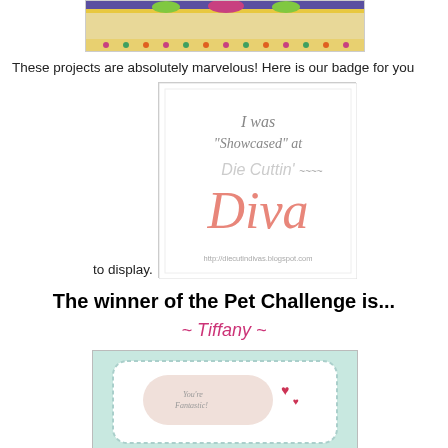[Figure (photo): Top portion of a crafted card or project with colorful decorative banner, partially visible]
These projects are absolutely marvelous! Here is our badge for you to display.
[Figure (illustration): Badge reading 'I was Showcased at Die Cuttin Diva' with decorative script lettering and URL http://diecutindivas.blogspot.com]
The winner of the Pet Challenge is...
~ Tiffany ~
[Figure (photo): Partial view of a handmade greeting card with light blue/mint background, white scalloped layers, a cloud or heart shape, and text 'You're Fantastic!' with small heart embellishments]